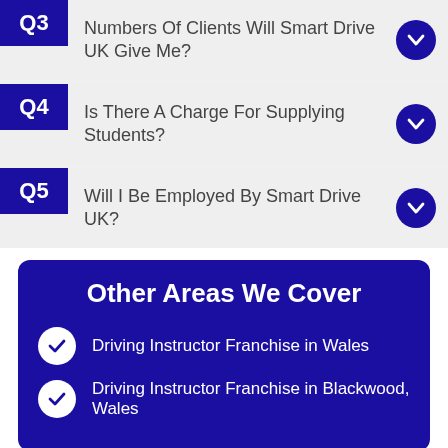Q3 Numbers Of Clients Will Smart Drive UK Give Me?
Q4 Is There A Charge For Supplying Students?
Q5 Will I Be Employed By Smart Drive UK?
Other Areas We Cover
Driving Instructor Franchise in Wales
Driving Instructor Franchise in Blackwood, Wales